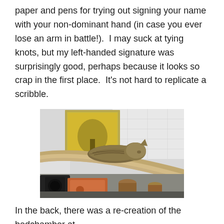paper and pens for trying out signing your name with your non-dominant hand (in case you ever lose an arm in battle!).  I may suck at tying knots, but my left-handed signature was surprisingly good, perhaps because it looks so crap in the first place.  It's not hard to replicate a scribble.
[Figure (photo): A cat lying stretched out on a curved rail or bannister, viewed from above. In the background there is a framed picture on a white wall showing a golden/yellow scene. Below the rail are some equipment items including what appears to be a black and brown/orange piece of machinery or camera equipment, and a small cylindrical brown object.]
In the back, there was a re-creation of the bedchamber at